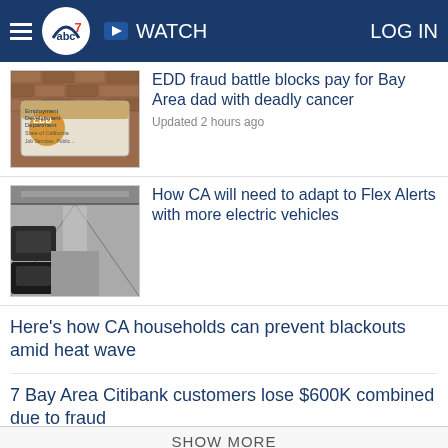ABC7 News — WATCH | LOG IN
[Figure (photo): EDD sign on brick wall, State of California Employment Development Department]
EDD fraud battle blocks pay for Bay Area dad with deadly cancer
Updated 2 hours ago
[Figure (photo): Cars parked in a covered parking structure with corridor view]
How CA will need to adapt to Flex Alerts with more electric vehicles
Here's how CA households can prevent blackouts amid heat wave
7 Bay Area Citibank customers lose $600K combined due to fraud
East Bay open spaces closing due to excessive heat warning
Flex Alert: Parts of CA could see 8 days of triple-digit heat
SHOW MORE